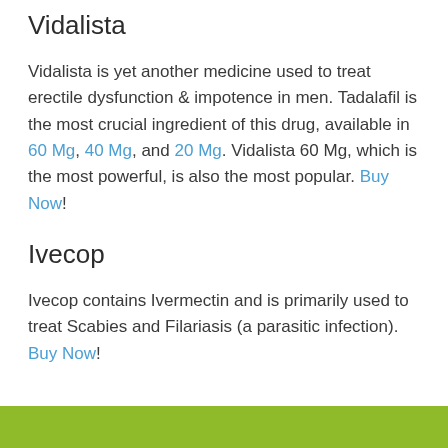Vidalista
Vidalista is yet another medicine used to treat erectile dysfunction & impotence in men. Tadalafil is the most crucial ingredient of this drug, available in 60 Mg, 40 Mg, and 20 Mg. Vidalista 60 Mg, which is the most powerful, is also the most popular. Buy Now!
Ivecop
Ivecop contains Ivermectin and is primarily used to treat Scabies and Filariasis (a parasitic infection). Buy Now!